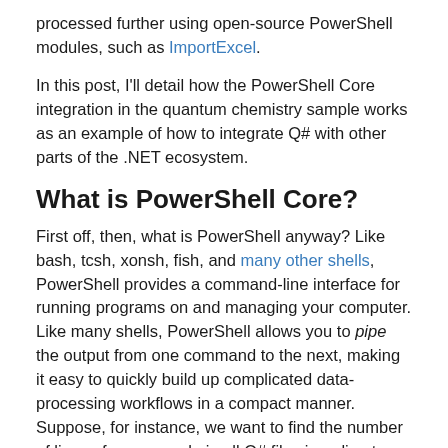processed further using open-source PowerShell modules, such as ImportExcel.
In this post, I'll detail how the PowerShell Core integration in the quantum chemistry sample works as an example of how to integrate Q# with other parts of the .NET ecosystem.
What is PowerShell Core?
First off, then, what is PowerShell anyway? Like bash, tcsh, xonsh, fish, and many other shells, PowerShell provides a command-line interface for running programs on and managing your computer. Like many shells, PowerShell allows you to pipe the output from one command to the next, making it easy to quickly build up complicated data-processing workflows in a compact manner. Suppose, for instance, we want to find the number of lines of source code in all Q# files in a directory: